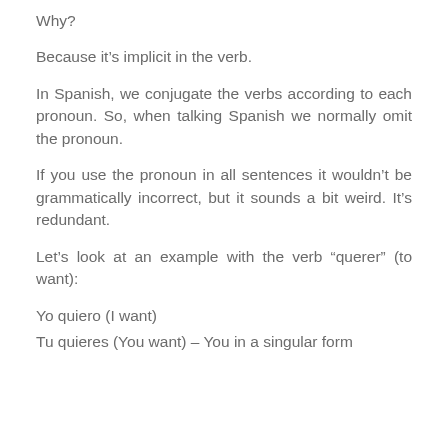Why?
Because it’s implicit in the verb.
In Spanish, we conjugate the verbs according to each pronoun. So, when talking Spanish we normally omit the pronoun.
If you use the pronoun in all sentences it wouldn’t be grammatically incorrect, but it sounds a bit weird. It’s redundant.
Let’s look at an example with the verb “querer” (to want):
Yo quiero (I want)
Tu quieres (You want) – You in a singular form